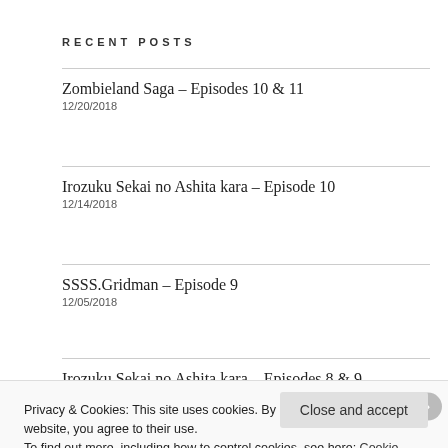RECENT POSTS
Zombieland Saga – Episodes 10 & 11
12/20/2018
Irozuku Sekai no Ashita kara – Episode 10
12/14/2018
SSSS.Gridman – Episode 9
12/05/2018
Irozuku Sekai no Ashita kara – Episodes 8 & 9
Privacy & Cookies: This site uses cookies. By continuing to use this website, you agree to their use.
To find out more, including how to control cookies, see here: Cookie Policy
Close and accept